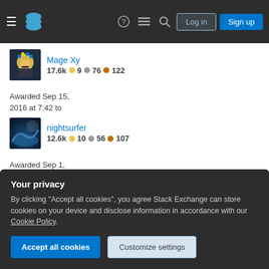Stack Exchange navigation header with Log in and Sign up buttons
Mage Xy 17.6k 9 76 122
Awarded Sep 15, 2016 at 7:42 to
nightsurfer 12.6k 10 56 107
Awarded Sep 1, 2016 at 13:56 to
C. Ross 16k 8 100 171
Awarded Aug 18, 2016 at 8:55 to
Your privacy
By clicking "Accept all cookies", you agree Stack Exchange can store cookies on your device and disclose information in accordance with our Cookie Policy.
Accept all cookies | Customize settings